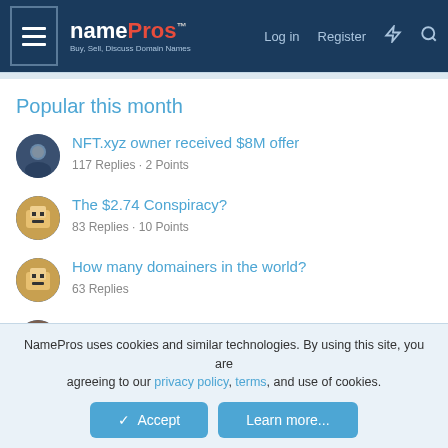namePros - Buy, Sell, Discuss Domain Names | Log in | Register
Popular this month
NFT.xyz owner received $8M offer
117 Replies · 2 Points
The $2.74 Conspiracy?
83 Replies · 10 Points
How many domainers in the world?
63 Replies
What Are The Odds? Applied Probability For Domain Investing
58 Replies · 41 Points
NamePros uses cookies and similar technologies. By using this site, you are agreeing to our privacy policy, terms, and use of cookies.